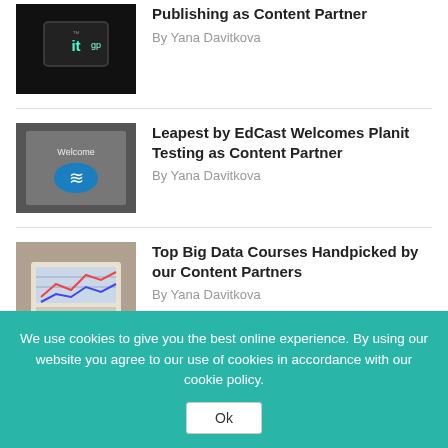[Figure (photo): IT GP logo thumbnail - black background with green text]
Publishing as Content Partner
By Yana Davitkova
[Figure (photo): Welcome thumbnail with blue icon on dark background]
Leapest by EdCast Welcomes Planit Testing as Content Partner
By Yana Davitkova
[Figure (photo): Laptop with data dashboard on screen]
Top Big Data Courses Handpicked by our Content Partners
By Yana Davitkova
[Figure (photo): Partial thumbnail at bottom, cut off]
We use cookies to give you the best online experience. By using our website you agree to our use of cookies in accordance with our cookie policy.